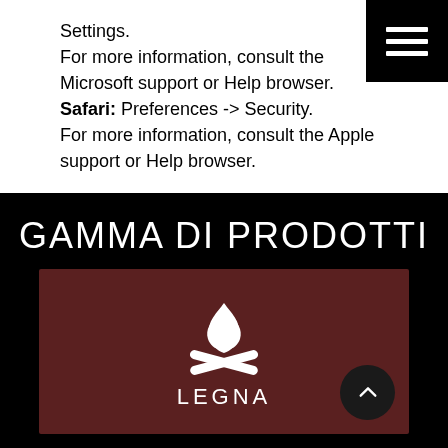Settings.
For more information, consult the Microsoft support or Help browser.
Safari: Preferences -> Security.
For more information, consult the Apple support or Help browser.
GAMMA DI PRODOTTI
[Figure (illustration): Brown card with a white campfire/log icon and the word LEGNA below it, on a black background. A dark scroll-up button is in the bottom-right corner.]